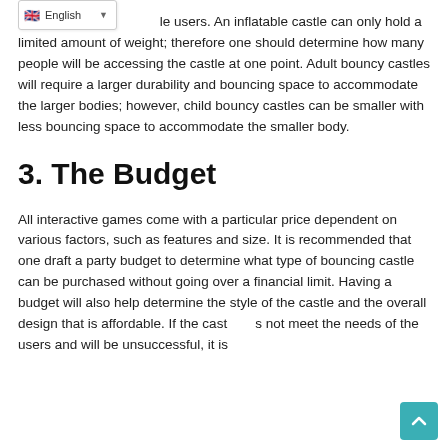des...le users. An inflatable castle can only hold a limited amount of weight; therefore one should determine how many people will be accessing the castle at one point. Adult bouncy castles will require a larger durability and bouncing space to accommodate the larger bodies; however, child bouncy castles can be smaller with less bouncing space to accommodate the smaller body.
3. The Budget
All interactive games come with a particular price dependent on various factors, such as features and size. It is recommended that one draft a party budget to determine what type of bouncing castle can be purchased without going over a financial limit. Having a budget will also help determine the style of the castle and the overall design that is affordable. If the cast...s not meet the needs of the users and will be unsuccessful, it is